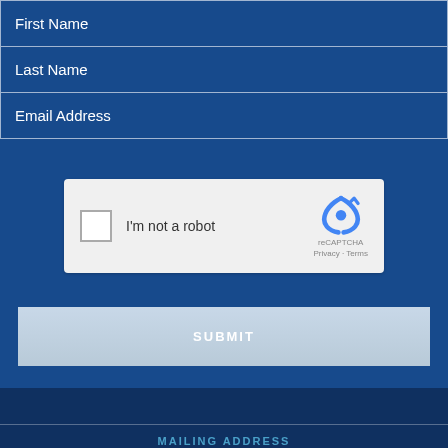First Name
Last Name
Email Address
[Figure (other): reCAPTCHA widget with checkbox labeled 'I'm not a robot' and Google reCAPTCHA logo with Privacy and Terms links]
SUBMIT
MAILING ADDRESS